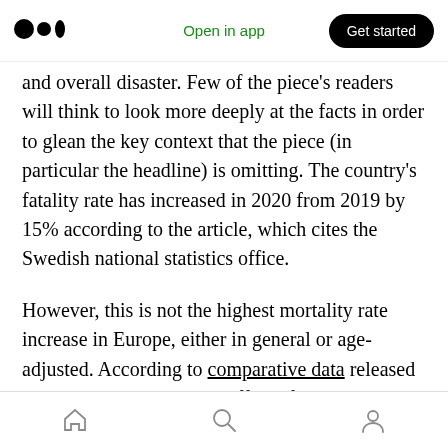Open in app | Get started
and overall disaster. Few of the piece's readers will think to look more deeply at the facts in order to glean the key context that the piece (in particular the headline) is omitting. The country's fatality rate has increased in 2020 from 2019 by 15% according to the article, which cites the Swedish national statistics office.
However, this is not the highest mortality rate increase in Europe, either in general or age-adjusted. According to comparative data released by the UK government's Office of National Statistics (the linked website allows for
Home | Search | Profile